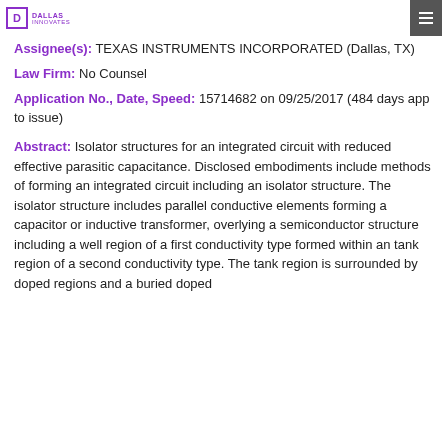Dallas Innovates
Assignee(s): TEXAS INSTRUMENTS INCORPORATED (Dallas, TX)
Law Firm: No Counsel
Application No., Date, Speed: 15714682 on 09/25/2017 (484 days app to issue)
Abstract: Isolator structures for an integrated circuit with reduced effective parasitic capacitance. Disclosed embodiments include methods of forming an integrated circuit including an isolator structure. The isolator structure includes parallel conductive elements forming a capacitor or inductive transformer, overlying a semiconductor structure including a well region of a first conductivity type formed within an tank region of a second conductivity type. The tank region is surrounded by doped regions and a buried doped